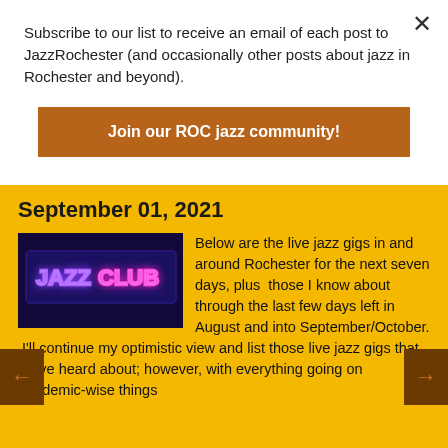Subscribe to our list to receive an email of each post to JazzRochester (and occasionally other posts about jazz in Rochester and beyond).
Join our ROC jazz community!
September 01, 2021
[Figure (photo): Neon sign reading JAZZ CLUB with purple and pink neon lettering on a dark background]
Below are the live jazz gigs in and around Rochester for the next seven days, plus  those I know about through the last few days left in August and into September/October.  I'll continue my optimistic view and list those live jazz gigs that we've heard about; however, with everything going on pandemic-wise things